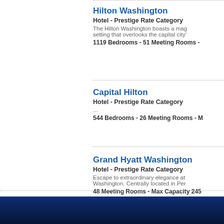Hilton Washington
Hotel - Prestige Rate Category
The Hilton Washington boasts a mag setting that overlooks the capital city'
1119 Bedrooms - 51 Meeting Rooms -
Capital Hilton
Hotel - Prestige Rate Category
...
544 Bedrooms - 26 Meeting Rooms - M
Grand Hyatt Washington
Hotel - Prestige Rate Category
Escape to extraordinary elegance at Washington. Centrally located in Per
48 Meeting Rooms - Max Capacity 245